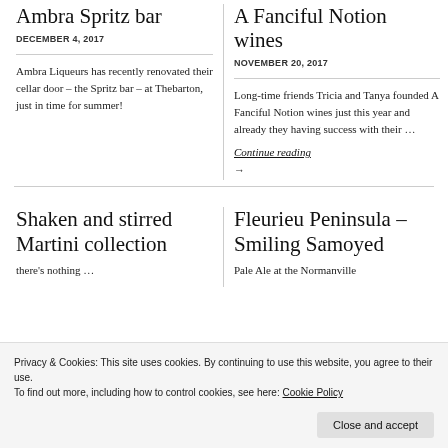Ambra Spritz bar
DECEMBER 4, 2017
Ambra Liqueurs has recently renovated their cellar door – the Spritz bar – at Thebarton, just in time for summer!
A Fanciful Notion wines
NOVEMBER 20, 2017
Long-time friends Tricia and Tanya founded A Fanciful Notion wines just this year and already they having success with their …
Continue reading
→
Shaken and stirred Martini collection
Fleurieu Peninsula – Smiling Samoyed
there's nothing …
Pale Ale at the Normanville
Privacy & Cookies: This site uses cookies. By continuing to use this website, you agree to their use.
To find out more, including how to control cookies, see here: Cookie Policy
Close and accept